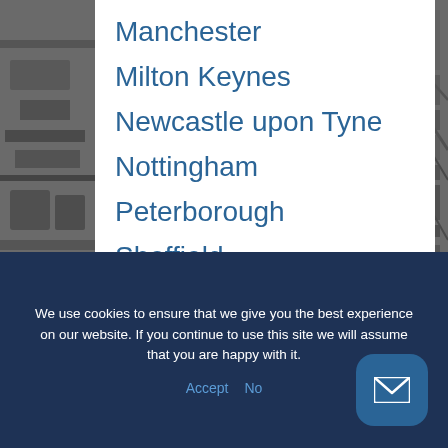[Figure (photo): Grayscale aerial photo of industrial/construction site with pipes and structures]
Manchester
Milton Keynes
Newcastle upon Tyne
Nottingham
Peterborough
Sheffield
Telford
We use cookies to ensure that we give you the best experience on our website. If you continue to use this site we will assume that you are happy with it.
Accept   No